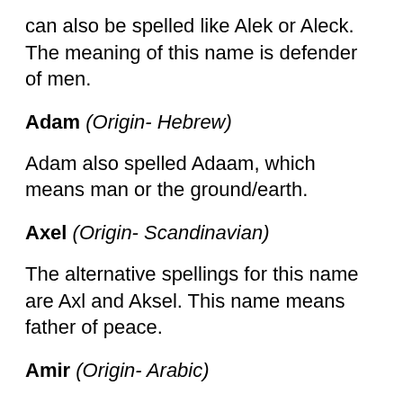can also be spelled like Alek or Aleck. The meaning of this name is defender of men.
Adam (Origin- Hebrew)
Adam also spelled Adaam, which means man or the ground/earth.
Axel (Origin- Scandinavian)
The alternative spellings for this name are Axl and Aksel.  This name means father of peace.
Amir (Origin- Arabic)